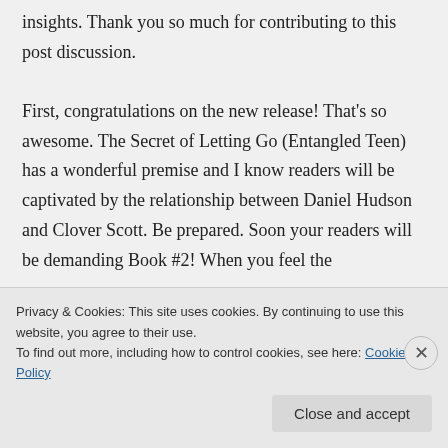insights. Thank you so much for contributing to this post discussion.

First, congratulations on the new release! That's so awesome. The Secret of Letting Go (Entangled Teen) has a wonderful premise and I know readers will be captivated by the relationship between Daniel Hudson and Clover Scott. Be prepared. Soon your readers will be demanding Book #2! When you feel the
Privacy & Cookies: This site uses cookies. By continuing to use this website, you agree to their use.
To find out more, including how to control cookies, see here: Cookie Policy
Close and accept